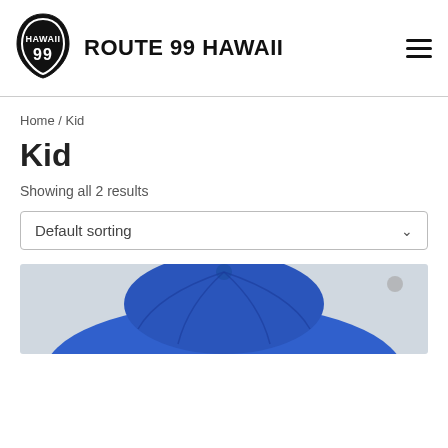[Figure (logo): Route 99 Hawaii logo: black teardrop/shield shape with HAWAII text on top and 99 below in white, next to bold text ROUTE 99 HAWAII]
ROUTE 99 HAWAII
Home / Kid
Kid
Showing all 2 results
Default sorting
[Figure (photo): Blue baseball cap photographed from above/behind against a light gray background]